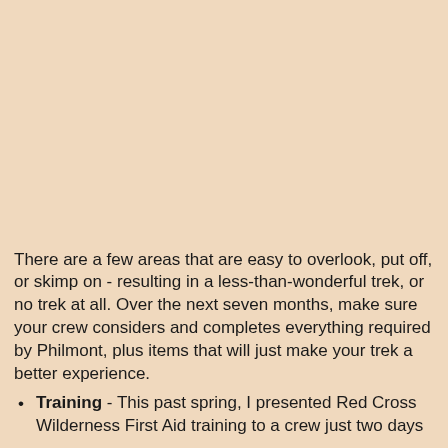There are a few areas that are easy to overlook, put off, or skimp on - resulting in a less-than-wonderful trek, or no trek at all. Over the next seven months, make sure your crew considers and completes everything required by Philmont, plus items that will just make your trek a better experience.
Training - This past spring, I presented Red Cross Wilderness First Aid training to a crew just two days